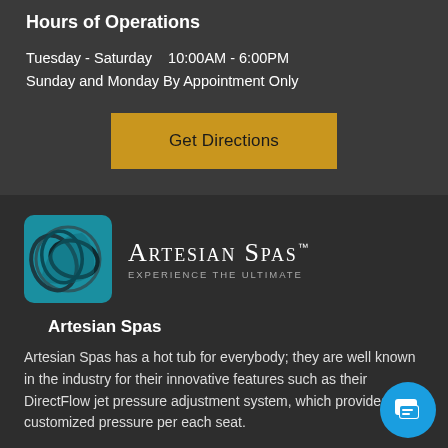Hours of Operations
Tuesday - Saturday    10:00AM - 6:00PM
Sunday and Monday By Appointment Only
[Figure (other): Gold/amber button reading 'Get Directions']
[Figure (logo): Artesian Spas logo: teal square with overlapping oval/circle design, beside text 'Artesian Spas' with tagline 'Experience the Ultimate']
Artesian Spas
Artesian Spas has a hot tub for everybody; they are well known in the industry for their innovative features such as their DirectFlow jet pressure adjustment system, which provides customized pressure per each seat.